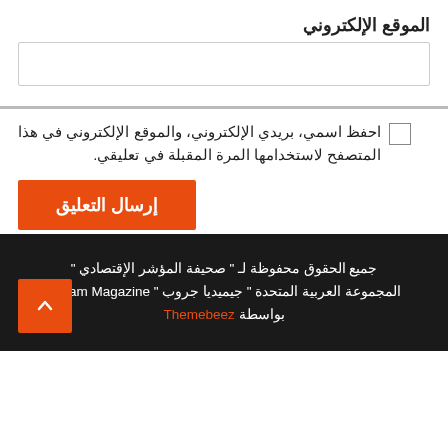الموقع الإلكتروني
احفظ اسمي، بريدي الإلكتروني، والموقع الإلكتروني في هذا المتصفح لاستخدامها المرة المقبلة في تعليقي.
إرسال التعليق
جميع الحقوق محفوظة لـ " صحيفة المؤشر الإقتصادي " المجموعة العربية المتحدة " جيميديا جروب " Cream Magazine بواسطة Themebeez